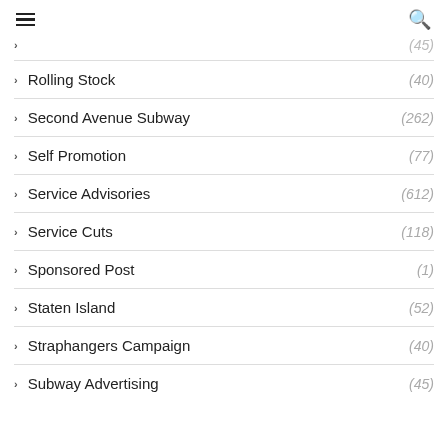≡  🔍
Rolling Stock (40)
Second Avenue Subway (262)
Self Promotion (77)
Service Advisories (612)
Service Cuts (118)
Sponsored Post (1)
Staten Island (52)
Straphangers Campaign (40)
Subway Advertising (45)